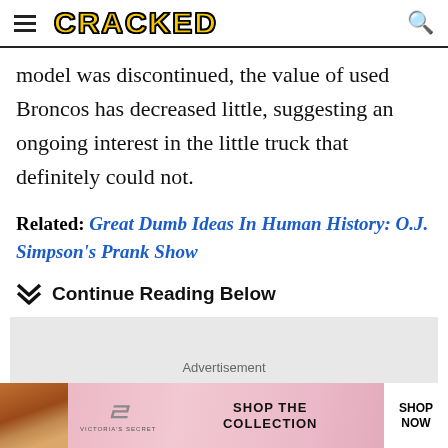CRACKED
model was discontinued, the value of used Broncos has decreased little, suggesting an ongoing interest in the little truck that definitely could not.
Related: Great Dumb Ideas In Human History: O.J. Simpson's Prank Show
Continue Reading Below
[Figure (other): Advertisement placeholder box]
[Figure (other): Victoria's Secret banner advertisement with model photo, VS logo, and Shop Now button]